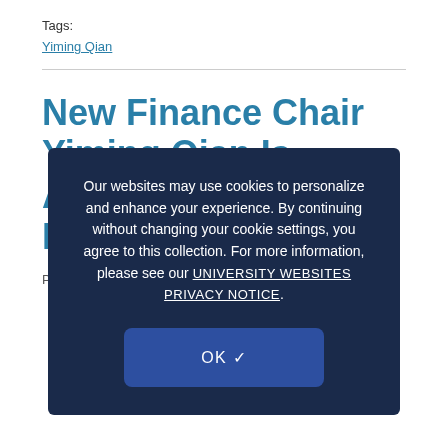Tags:
Yiming Qian
New Finance Chair Yiming Qian Is Among Nation's Top Researchers
Posted on
Our websites may use cookies to personalize and enhance your experience. By continuing without changing your cookie settings, you agree to this collection. For more information, please see our UNIVERSITY WEBSITES PRIVACY NOTICE.
OK ✓